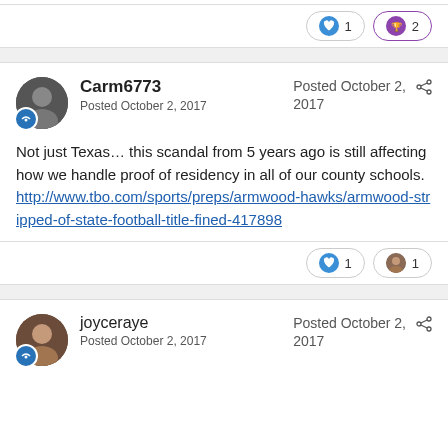[Figure (other): Reaction buttons: heart icon with count 1, trophy icon with count 2]
Carm6773
Posted October 2, 2017
Posted October 2, 2017
Not just Texas... this scandal from 5 years ago is still affecting how we handle proof of residency in all of our county schools.
http://www.tbo.com/sports/preps/armwood-hawks/armwood-stripped-of-state-football-title-fined-417898
[Figure (other): Reaction buttons: heart icon with count 1, user avatar icon with count 1]
joyceraye
Posted October 2, 2017
Posted October 2, 2017